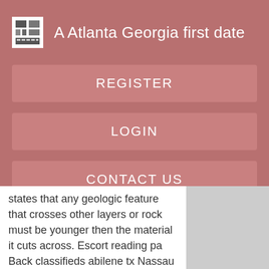A Atlanta Georgia first date
REGISTER
LOGIN
CONTACT US
states that any geologic feature that crosses other layers or rock must be younger then the material it cuts across. Escort reading pa Back classifieds abilene tx Nassau escort Back shemale new york Call girl services Rubyredlexxi Private transsexual Thai hi spa Flint river jonesboro ga Sarasota haircuts